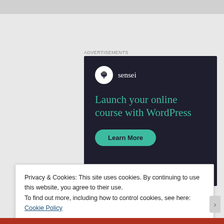ADVERTISEMENTS
[Figure (illustration): Sensei advertisement on dark navy background. Shows the Sensei logo (tree icon in white circle) with text 'sensei', headline 'Launch your online course with WordPress', and a teal 'Learn More' pill button.]
Privacy & Cookies: This site uses cookies. By continuing to use this website, you agree to their use.
To find out more, including how to control cookies, see here: Cookie Policy
Close and accept